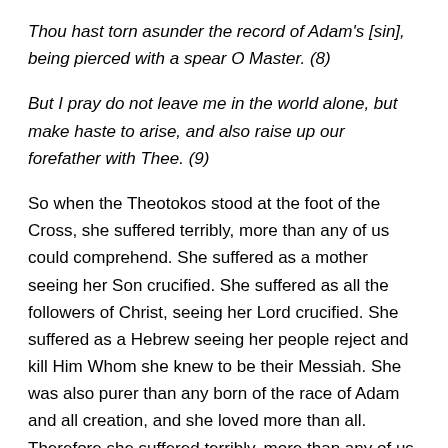Thou hast torn asunder the record of Adam's [sin], being pierced with a spear O Master. (8)
But I pray do not leave me in the world alone, but make haste to arise, and also raise up our forefather with Thee. (9)
So when the Theotokos stood at the foot of the Cross, she suffered terribly, more than any of us could comprehend. She suffered as a mother seeing her Son crucified. She suffered as all the followers of Christ, seeing her Lord crucified. She suffered as a Hebrew seeing her people reject and kill Him Whom she knew to be their Messiah. She was also purer than any born of the race of Adam and all creation, and she loved more than all. Therefore she suffered terribly, more than any of us could comprehend. But what is the consequence of all this suffering? What is